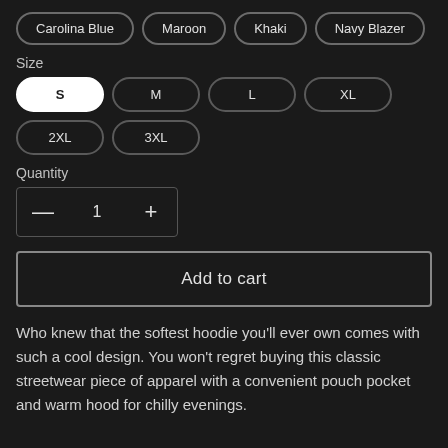Carolina Blue
Maroon
Khaki
Navy Blazer
Size
S
M
L
XL
2XL
3XL
Quantity
— 1 +
Add to cart
Who knew that the softest hoodie you'll ever own comes with such a cool design. You won't regret buying this classic streetwear piece of apparel with a convenient pouch pocket and warm hood for chilly evenings.